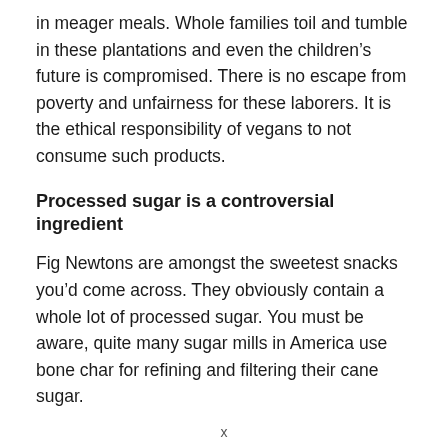in meager meals. Whole families toil and tumble in these plantations and even the children's future is compromised. There is no escape from poverty and unfairness for these laborers. It is the ethical responsibility of vegans to not consume such products.
Processed sugar is a controversial ingredient
Fig Newtons are amongst the sweetest snacks you'd come across. They obviously contain a whole lot of processed sugar. You must be aware, quite many sugar mills in America use bone char for refining and filtering their cane sugar.